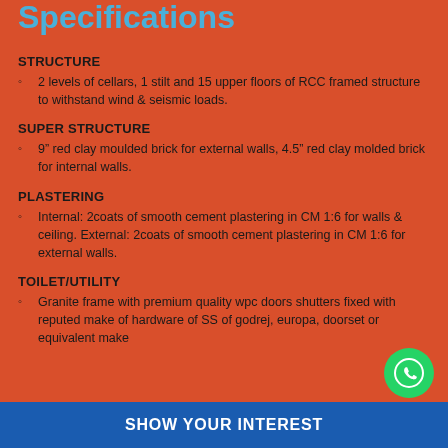Specifications
STRUCTURE
2 levels of cellars, 1 stilt and 15 upper floors of RCC framed structure to withstand wind & seismic loads.
SUPER STRUCTURE
9" red clay moulded brick for external walls, 4.5" red clay molded brick for internal walls.
PLASTERING
Internal: 2coats of smooth cement plastering in CM 1:6 for walls & ceiling. External: 2coats of smooth cement plastering in CM 1:6 for external walls.
TOILET/UTILITY
Granite frame with premium quality wpc doors shutters fixed with reputed make of hardware of SS of godrej, europa, doorset or equivalent make
SHOW YOUR INTEREST